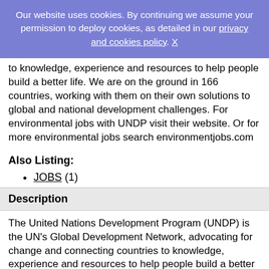Our website uses cookies. By continuing we assume your permission to deploy cookies, as detailed in our privacy and cookies policy. X
to knowledge, experience and resources to help people build a better life. We are on the ground in 166 countries, working with them on their own solutions to global and national development challenges. For environmental jobs with UNDP visit their website. Or for more environmental jobs search environmentjobs.com
Also Listing:
JOBS (1)
Description
The United Nations Development Program (UNDP) is the UN's Global Development Network, advocating for change and connecting countries to knowledge, experience and resources to help people build a better life. We are on the ground in over 170 countries, employing participatory approaches to developing local solutions to national and